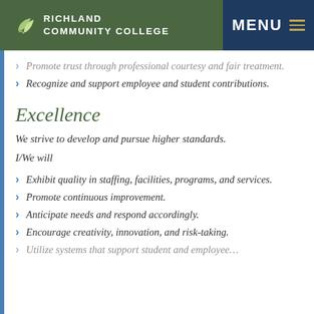RICHLAND COMMUNITY COLLEGE  MENU
Promote trust through professional courtesy and fair treatment.
Recognize and support employee and student contributions.
Excellence
We strive to develop and pursue higher standards.
I/We will
Exhibit quality in staffing, facilities, programs, and services.
Promote continuous improvement.
Anticipate needs and respond accordingly.
Encourage creativity, innovation, and risk-taking.
Utilize systems that support student and employee…